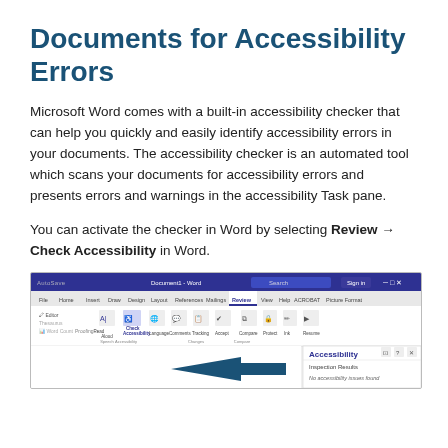Documents for Accessibility Errors
Microsoft Word comes with a built-in accessibility checker that can help you quickly and easily identify accessibility errors in your documents. The accessibility checker is an automated tool which scans your documents for accessibility errors and presents errors and warnings in the accessibility Task pane.
You can activate the checker in Word by selecting Review → Check Accessibility in Word.
[Figure (screenshot): Screenshot of Microsoft Word ribbon with the Review tab active, showing the Check Accessibility button highlighted, and the Accessibility task pane open on the right showing Inspection Results with 'No accessibility issues found'.]